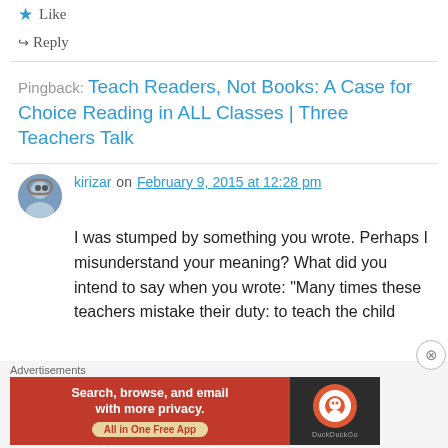★ Like
↪ Reply
Pingback: Teach Readers, Not Books: A Case for Choice Reading in ALL Classes | Three Teachers Talk
kirizar on February 9, 2015 at 12:28 pm
I was stumped by something you wrote. Perhaps I misunderstand your meaning? What did you intend to say when you wrote: "Many times these teachers mistake their duty: to teach the child
[Figure (screenshot): DuckDuckGo advertisement: orange background with text 'Search, browse, and email with more privacy. All in One Free App', dark panel with DuckDuckGo logo. Advertisements label above.]